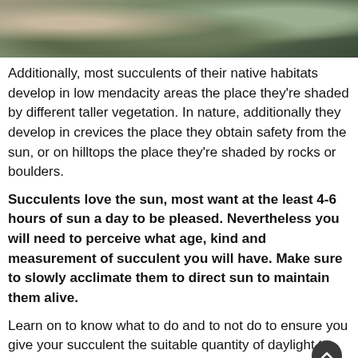[Figure (photo): Close-up photograph of succulents with green and reddish-brown leaves against a dark background, cropped at top of page.]
Additionally, most succulents of their native habitats develop in low mendacity areas the place they’re shaded by different taller vegetation. In nature, additionally they develop in crevices the place they obtain safety from the sun, or on hilltops the place they’re shaded by rocks or boulders.
Succulents love the sun, most want at the least 4-6 hours of sun a day to be pleased. Nevertheless you will need to perceive what age, kind and measurement of succulent you will have. Make sure to slowly acclimate them to direct sun to maintain them alive.
Learn on to know what to do and to not do to ensure you give your succulent the suitable quantity of daylight to keep away from killing it.